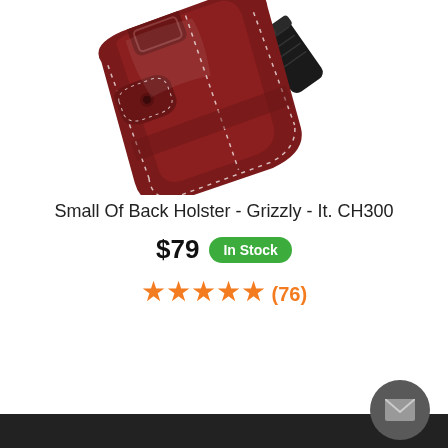[Figure (photo): A dark burgundy/brown leather small-of-back holster with white stitching, shown at an angle with a black revolver partially inserted.]
Small Of Back Holster - Grizzly - It. CH300
$79  In Stock
★★★★★ (76)